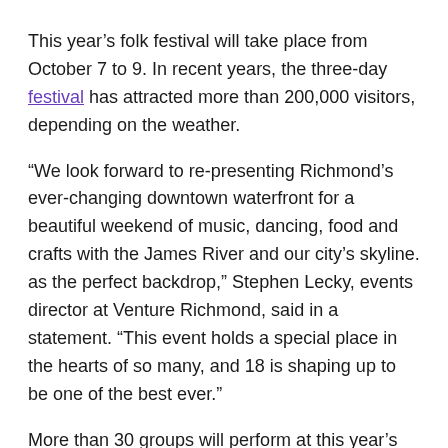This year’s folk festival will take place from October 7 to 9. In recent years, the three-day festival has attracted more than 200,000 visitors, depending on the weather.
“We look forward to re-presenting Richmond’s ever-changing downtown waterfront for a beautiful weekend of music, dancing, food and crafts with the James River and our city’s skyline. as the perfect backdrop,” Stephen Lecky, events director at Venture Richmond, said in a statement. “This event holds a special place in the hearts of so many, and 18 is shaping up to be one of the best ever.”
More than 30 groups will perform at this year’s Folk Festival. Eight artists have been announced so far. They are:
• Beòloach from Cape Breton Island, Nova Scotia: A four-piece band consisting of fiddle, bagpipes, piano and guitar performing modern arrangements of Scottish and Irish tunes traditional.